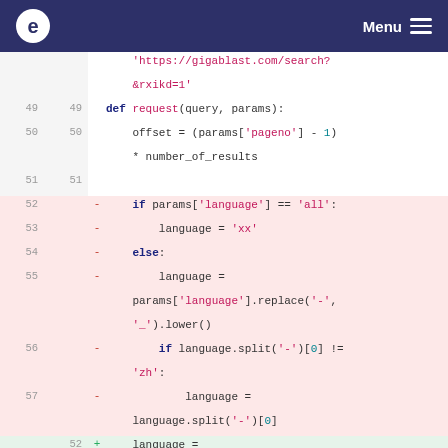e Menu
[Figure (screenshot): Code diff view showing Python function 'request(query, params)' with line numbers. Lines 49-51 are unchanged (white background). Lines 52-57 are deleted lines (red background). Lines 52-53 are added lines (green background). Code uses syntax highlighting with keywords in dark blue/bold, strings in pink/red, and numbers in teal.]